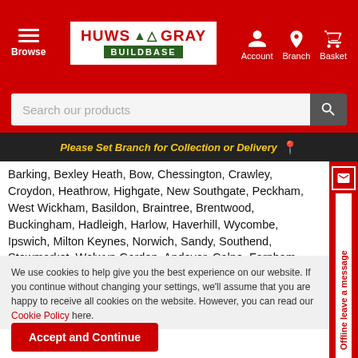[Figure (logo): Huws Gray Buildbase logo with navigation icons for Account, Branch, and Basket on red header bar]
[Figure (screenshot): Search bar with placeholder text 'Search our products' and a search button]
Please Set Branch for Collection or Delivery
Barking, Bexley Heath, Bow, Chessington, Crawley, Croydon, Heathrow, Highgate, New Southgate, Peckham, West Wickham, Basildon, Braintree, Brentwood, Buckingham, Hadleigh, Harlow, Haverhill, Wycombe, Ipswich, Milton Keynes, Norwich, Sandy, Southend, Stowmarket, Welwyn Garden, Andover, Calne, Farnham, Melksham, Newbury, Portsmouth, Selsey, Swindon, Theale, Wantage, Bristol, Cheltenham, Cirencester, Evesham, Exeter, Gloucester, Oxford, Radstock, Wellington, Weston Super Mare, Yeovil, Barnsley, Doncaster, Rotherham, South Kirkby, Wakefield, Sunderland, Newcastle, Gateshead, Bolton - Heaton, Southport - Birkdale, Wooferton, Market Drayton, Nantwich, Northwich, Longridge, Preston - Ribbleton, Shrewsbury - Meole Brace, Stockport, Swinton, Ashton-in-Makerfield, Birmingham, Earl Shilton, Coventry, Leicester, Market Harborough, Redditch, Rushden, Wisbech, Ashbourne, Belper, Coalville, Derby, Hatton, Stoke on Trent, Swadlincote, Tamworth, Aberdeen, Arbroa...
We use cookies to help give you the best experience on our website. If you continue without changing your settings, we'll assume that you are happy to receive all cookies on the website. However, you can read our Cookie Policy here.
Accept and Continue